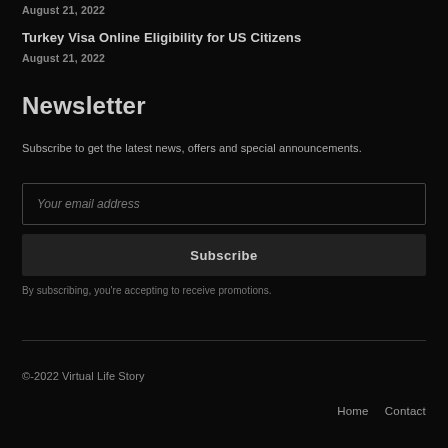August 21, 2022
Turkey Visa Online Eligibility for US Citizens
August 21, 2022
Newsletter
Subscribe to get the latest news, offers and special announcements.
Your email address
Subscribe
By subscribing, you're accepting to receive promotions.
©-2022 Virtual Life Story  Home  Contact